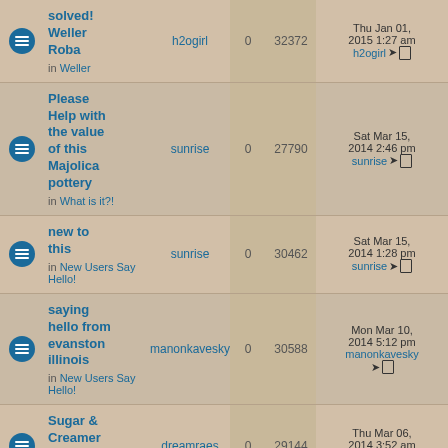|  | Topic | Author | Replies | Views | Last Post |
| --- | --- | --- | --- | --- | --- |
| [icon] | solved! Weller Roba
in Weller | h2ogirl | 0 | 32372 | Thu Jan 01, 2015 1:27 am
h2ogirl →□ |
| [icon] | Please Help with the value of this Majolica pottery
in What is it?! | sunrise | 0 | 27790 | Sat Mar 15, 2014 2:46 pm
sunrise →□ |
| [icon] | new to this
in New Users Say Hello! | sunrise | 0 | 30462 | Sat Mar 15, 2014 1:28 pm
sunrise →□ |
| [icon] | saying hello from evanston illinois
in New Users Say Hello! | manonkavesky | 0 | 30588 | Mon Mar 10, 2014 5:12 pm
manonkavesky →□ |
| [icon] | Sugar & Creamer Set
in What is it?! | dreamraes | 0 | 29144 | Thu Mar 06, 2014 3:52 am
dreamraes →□ |
| [icon] | Cute little hanging… |  |  |  | Wed Mar 05… |